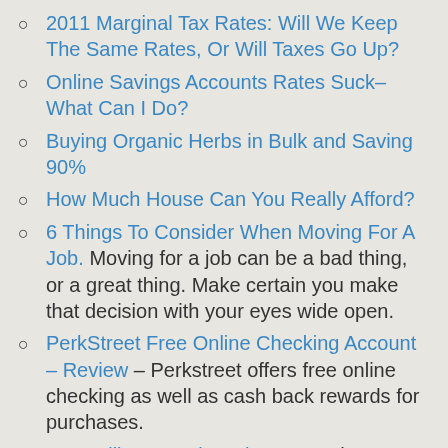2011 Marginal Tax Rates: Will We Keep The Same Rates, Or Will Taxes Go Up?
Online Savings Accounts Rates Suck– What Can I Do?
Buying Organic Herbs in Bulk and Saving 90%
How Much House Can You Really Afford?
6 Things To Consider When Moving For A Job. Moving for a job can be a bad thing, or a great thing. Make certain you make that decision with your eyes wide open.
PerkStreet Free Online Checking Account – Review – Perkstreet offers free online checking as well as cash back rewards for purchases.
Best Military Movies Giveaway. Share your favorite military movies and enter to Win $100